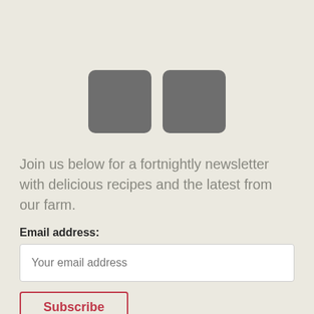[Figure (illustration): Two rounded square icon placeholders side by side in grey color]
Join us below for a fortnightly newsletter with delicious recipes and the latest from our farm.
Email address:
Your email address
Subscribe